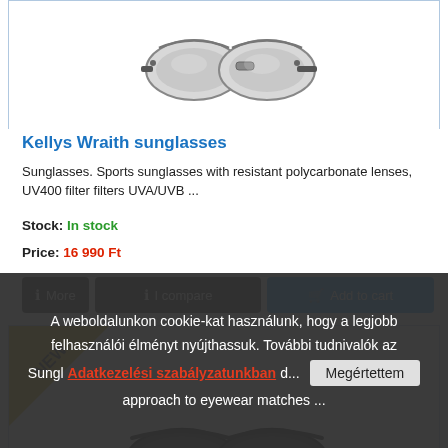[Figure (photo): Top portion of sport sunglasses with clear/grey lenses, viewed from above]
Kellys Wraith sunglasses
Sunglasses. Sports sunglasses with resistant polycarbonate lenses, UV400 filter filters UVA/UVB ...
Stock: In stock
Price: 16 990 Ft
[Figure (photo): Black wraparound sport sunglasses with dark lenses, NEW badge in corner]
A weboldalunkon cookie-kat használunk, hogy a legjobb felhasználói élményt nyújthassuk. További tudnivalók az Adatkezelési szabályzatunkban
Sungl... approach to eyewear matches ...